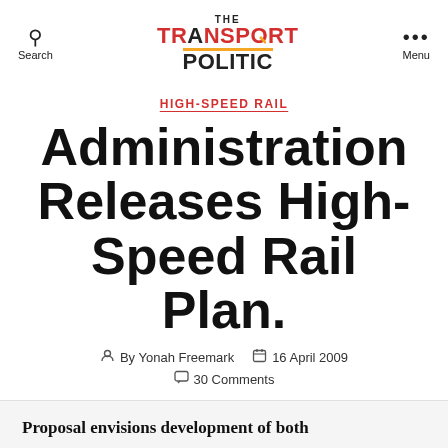THE TRANSPORT POLITIC — Search | Menu
HIGH-SPEED RAIL
Administration Releases High-Speed Rail Plan.
By Yonah Freemark   16 April 2009   30 Comments
Proposal envisions development of both